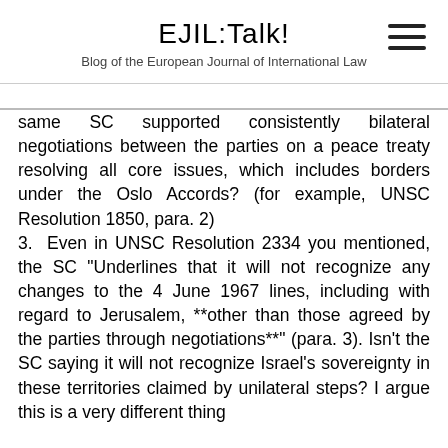EJIL:Talk!
Blog of the European Journal of International Law
same SC supported consistently bilateral negotiations between the parties on a peace treaty resolving all core issues, which includes borders under the Oslo Accords? (for example, UNSC Resolution 1850, para. 2)
3. Even in UNSC Resolution 2334 you mentioned, the SC "Underlines that it will not recognize any changes to the 4 June 1967 lines, including with regard to Jerusalem, **other than those agreed by the parties through negotiations**" (para. 3). Isn't the SC saying it will not recognize Israel's sovereignty in these territories claimed by unilateral steps? I argue this is a very different thing